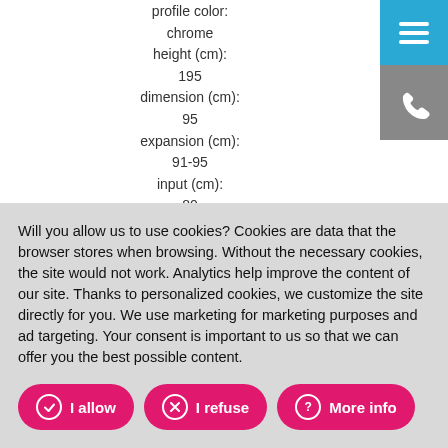profile color:
chrome
height (cm):
195
dimension (cm):
95
expansion (cm):
91-95
input (cm):
80
Price with tax /
613 €
GLASSB1CH10061
GLASS B1 100
Will you allow us to use cookies? Cookies are data that the browser stores when browsing. Without the necessary cookies, the site would not work. Analytics help improve the content of our site. Thanks to personalized cookies, we customize the site directly for you. We use marketing for marketing purposes and ad targeting. Your consent is important to us so that we can offer you the best possible content.
I allow
I refuse
More info